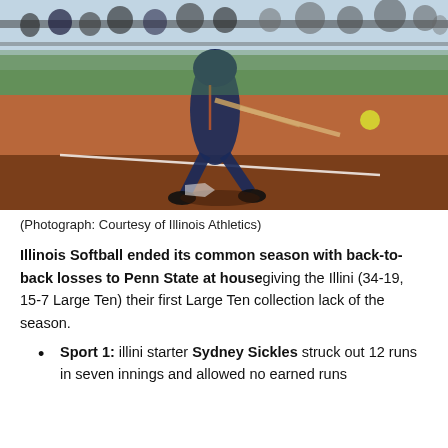[Figure (photo): A softball player in navy blue and orange Illinois uniform swinging a bat at home plate, with spectators in the background and red clay infield visible.]
(Photograph: Courtesy of Illinois Athletics)
Illinois Softball ended its common season with back-to-back losses to Penn State at housegiving the Illini (34-19, 15-7 Large Ten) their first Large Ten collection lack of the season.
Sport 1: illini starter Sydney Sickles struck out 12 runs in seven innings and allowed no earned runs